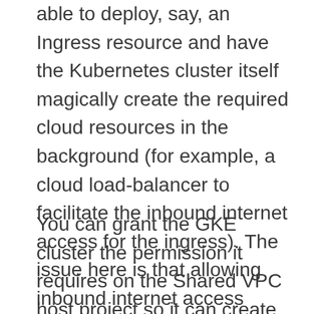able to deploy, say, an Ingress resource and have the Kubernetes cluster itself magically create the required cloud resources in the background (for example, a cloud load-balancer to facilitate the inbound internet access for the ingress). The issue here is that allowing inbound internet access requires some firewall rules to be created in the Shared VPC.
You can grant the GKE cluster the permission it requires on the Shared VPC host project so it can create firewall rules itself but there's definitely a trade-off here between your network team keeping control over the Shared VPC firewalls or